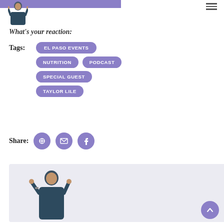[Figure (photo): Doctor in scrubs giving thumbs up, logo image]
What's your reaction:
Tags: EL PASO EVENTS NUTRITION PODCAST SPECIAL GUEST TAYLOR LILE
Share:
[Figure (photo): Doctor in scrubs giving thumbs up, bottom section image with light gray background]